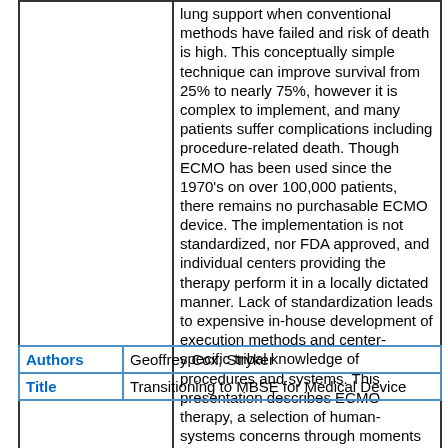|  | lung support when conventional methods have failed and risk of death is high. This conceptually simple technique can improve survival from 25% to nearly 75%, however it is complex to implement, and many patients suffer complications including procedure-related death. Though ECMO has been used since the 1970's on over 100,000 patients, there remains no purchasable ECMO device. The implementation is not standardized, nor FDA approved, and individual centers providing the therapy perform it in a locally dictated manner. Lack of standardization leads to expensive in-house development of execution methods and center-specific tribal knowledge of procedures and systems. This presentation describes ECMO therapy, a selection of human-systems concerns through moments in its history, possible paths for standardization, and potential and realized cost saving opportunities that systems engineering can afford. |
| Authors | Title |
| --- | --- |
| Authors | Geoffrey Cox, Stryker |
| Title | Transitioning to MBSE for Medical Device |